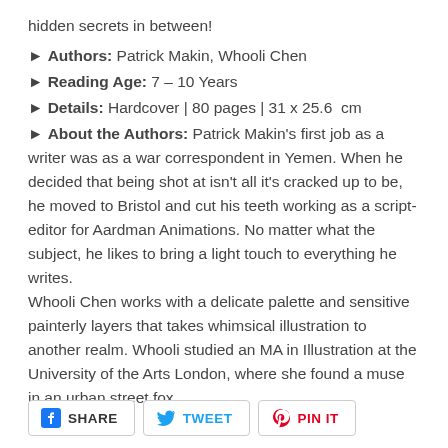hidden secrets in between!
► Authors: Patrick Makin, Whooli Chen
► Reading Age: 7 – 10 Years
► Details: Hardcover | 80 pages | 31 x 25.6  cm
► About the Authors: Patrick Makin's first job as a writer was as a war correspondent in Yemen. When he decided that being shot at isn't all it's cracked up to be, he moved to Bristol and cut his teeth working as a script-editor for Aardman Animations. No matter what the subject, he likes to bring a light touch to everything he writes.
Whooli Chen works with a delicate palette and sensitive painterly layers that takes whimsical illustration to another realm. Whooli studied an MA in Illustration at the University of the Arts London, where she found a muse in an urban street fox.